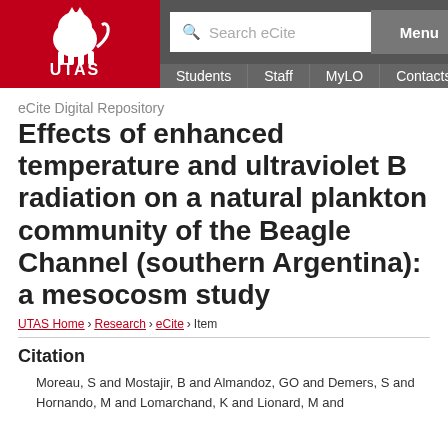UTAS | Students | Staff | MyLO | Contacts | Menu | Search eCite
eCite Digital Repository
Effects of enhanced temperature and ultraviolet B radiation on a natural plankton community of the Beagle Channel (southern Argentina): a mesocosm study
UTAS Home > Research > eCite > Item
Citation
Moreau, S and Mostajir, B and Almandoz, GO and Demers, S and Hornando, M and Lomarchand, K and Lionard, M and